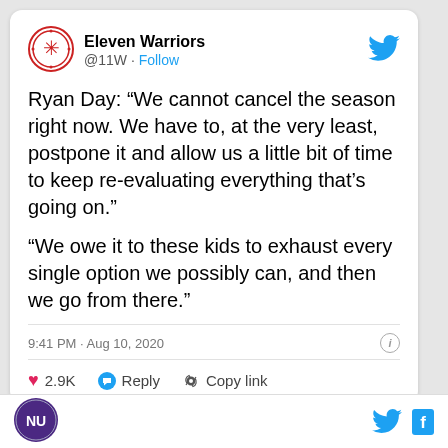[Figure (screenshot): Twitter/X profile avatar for Eleven Warriors (@11W) — circular logo with red border and snowflake/asterisk symbol]
Eleven Warriors
@11W · Follow
Ryan Day: “We cannot cancel the season right now. We have to, at the very least, postpone it and allow us a little bit of time to keep re-evaluating everything that’s going on.”
“We owe it to these kids to exhaust every single option we possibly can, and then we go from there."
9:41 PM · Aug 10, 2020
2.9K   Reply   Copy link
[Figure (logo): Northwestern University NU circular purple logo in footer]
[Figure (logo): Twitter bird icon and Facebook f icon in footer]